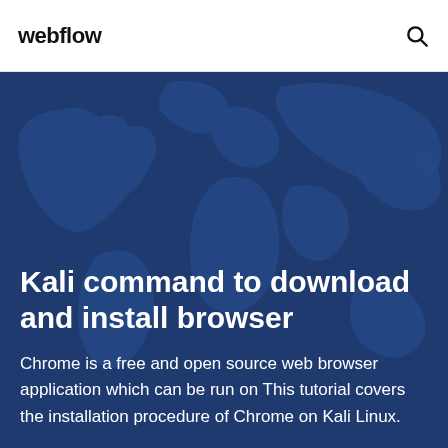webflow
[Figure (illustration): Dark blue hero banner with a world map silhouette in the background, used as a decorative header image for a tutorial page about Kali Linux browser installation.]
Kali command to download and install browser
Chrome is a free and open source web browser application which can be run on This tutorial covers the installation procedure of Chrome on Kali Linux.